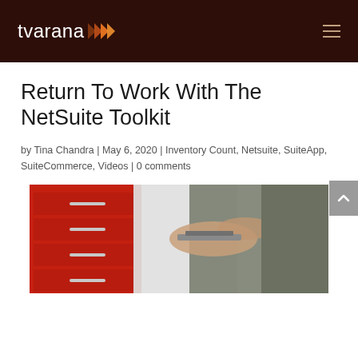tvarana
Return To Work With The NetSuite Toolkit
by Tina Chandra | May 6, 2020 | Inventory Count, Netsuite, SuiteApp, SuiteCommerce, Videos | 0 comments
[Figure (photo): Photo of a person's hands working with a red tool cabinet/toolbox, reaching into a drawer]